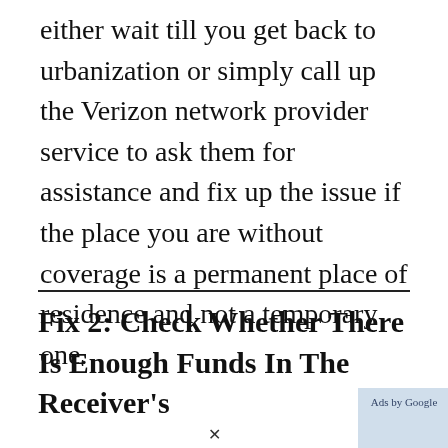either wait till you get back to urbanization or simply call up the Verizon network provider service to ask them for assistance and fix up the issue if the place you are without coverage is a permanent place of residence and not a temporary one.
Fix 2: Check Whether There Is Enough Funds In The Receiver's